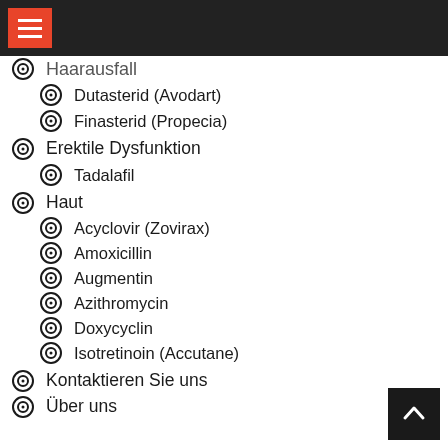Haarausfall
Dutasterid (Avodart)
Finasterid (Propecia)
Erektile Dysfunktion
Tadalafil
Haut
Acyclovir (Zovirax)
Amoxicillin
Augmentin
Azithromycin
Doxycyclin
Isotretinoin (Accutane)
Kontaktieren Sie uns
Über uns